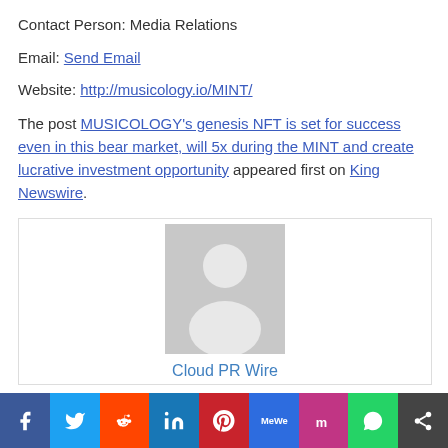Contact Person: Media Relations
Email: Send Email
Website: http://musicology.io/MINT/
The post MUSICOLOGY's genesis NFT is set for success even in this bear market, will 5x during the MINT and create lucrative investment opportunity appeared first on King Newswire.
[Figure (illustration): Avatar placeholder image showing a generic person silhouette in gray, with text 'Cloud PR Wire' below it]
[Figure (infographic): Social sharing bar with icons for Facebook, Twitter, Reddit, LinkedIn, Pinterest, MeWe, Mix, WhatsApp, and More]